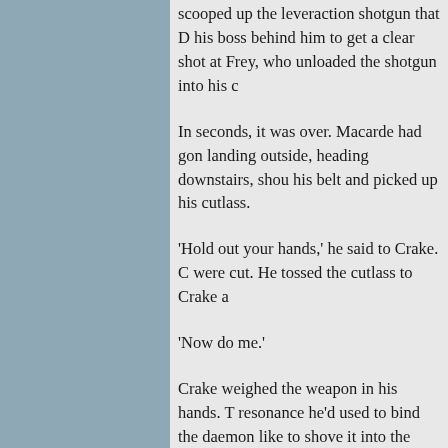scooped up the leveraction shotgun that D his boss behind him to get a clear shot at Frey, who unloaded the shotgun into his c
In seconds, it was over. Macarde had gon landing outside, heading downstairs, shou his belt and picked up his cutlass.
'Hold out your hands,' he said to Crake. C were cut. He tossed the cutlass to Crake a
'Now do me.'
Crake weighed the weapon in his hands. T resonance he'd used to bind the daemon like to shove it into the captain's guts.
'We don't have time, Crake,' Frey said. 'Ha
Crake was no swordsman, but he barely h